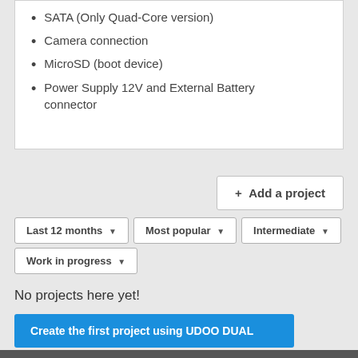SATA (Only Quad-Core version)
Camera connection
MicroSD (boot device)
Power Supply 12V and External Battery connector
[Figure (screenshot): Add a project button with + icon]
[Figure (screenshot): Filter buttons: Last 12 months, Most popular, Intermediate, Work in progress]
No projects here yet!
Create the first project using UDOO DUAL